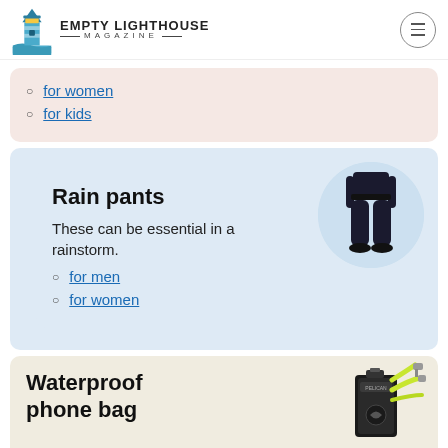[Figure (logo): Empty Lighthouse Magazine logo with lighthouse icon and text]
for women
for kids
Rain pants
These can be essential in a rainstorm.
for men
for women
[Figure (photo): Person wearing black rain pants, shown from waist down, circular crop]
Waterproof phone bag
[Figure (photo): Waterproof phone bag, black with yellow/green strap]